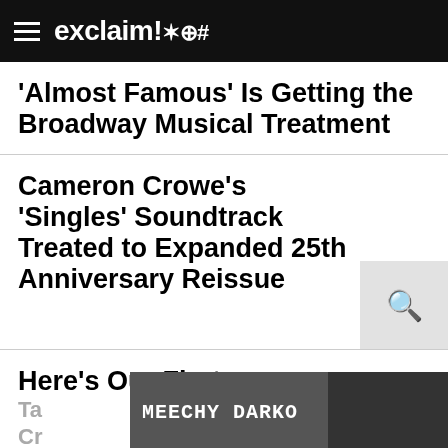exclaim!✶⁂#
'Almost Famous' Is Getting the Broadway Musical Treatment
Cameron Crowe's 'Singles' Soundtrack Treated to Expanded 25th Anniversary Reissue
Here's Our First
Ta... Cr...